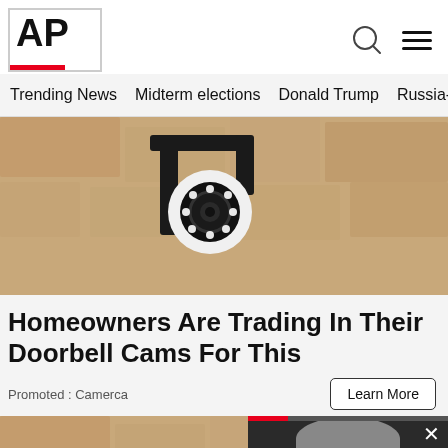AP
Trending News
Midterm elections
Donald Trump
Russia-Ukr
[Figure (photo): Close-up of a security camera mounted on a stone wall]
Homeowners Are Trading In Their Doorbell Cams For This
Promoted : Camerca
[Figure (photo): Security camera mounted with black bracket on stone wall, second image]
[Figure (photo): Video popup overlay showing a man with glasses and grey hair, with progress bar and close button]